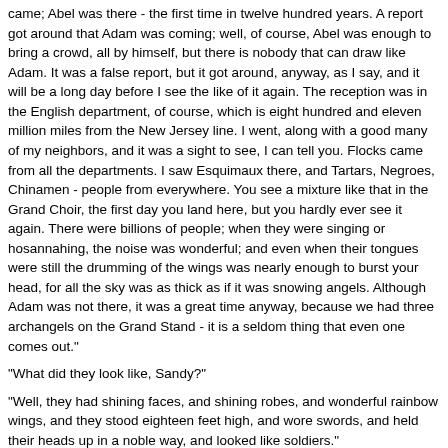came; Abel was there - the first time in twelve hundred years. A report got around that Adam was coming; well, of course, Abel was enough to bring a crowd, all by himself, but there is nobody that can draw like Adam. It was a false report, but it got around, anyway, as I say, and it will be a long day before I see the like of it again. The reception was in the English department, of course, which is eight hundred and eleven million miles from the New Jersey line. I went, along with a good many of my neighbors, and it was a sight to see, I can tell you. Flocks came from all the departments. I saw Esquimaux there, and Tartars, Negroes, Chinamen - people from everywhere. You see a mixture like that in the Grand Choir, the first day you land here, but you hardly ever see it again. There were billions of people; when they were singing or hosannahing, the noise was wonderful; and even when their tongues were still the drumming of the wings was nearly enough to burst your head, for all the sky was as thick as if it was snowing angels. Although Adam was not there, it was a great time anyway, because we had three archangels on the Grand Stand - it is a seldom thing that even one comes out."
"What did they look like, Sandy?"
"Well, they had shining faces, and shining robes, and wonderful rainbow wings, and they stood eighteen feet high, and wore swords, and held their heads up in a noble way, and looked like soldiers."
"Did they have halos?"
"No - anyway, not the hoop kind. The archangels and the upper- class patriarchs wear a finer thing than that. It is a round, solid, splendid glory of gold, that is blinding to look at. You have often seen a patriarch in a picture, on earth, with that thing on - you remember it? - he looks as if he had his head in a brass platter. That don't give you the right idea of it at all